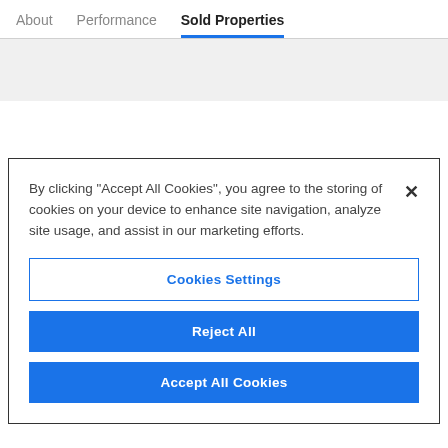About  Performance  Sold Properties
By clicking "Accept All Cookies", you agree to the storing of cookies on your device to enhance site navigation, analyze site usage, and assist in our marketing efforts.
Cookies Settings
Reject All
Accept All Cookies